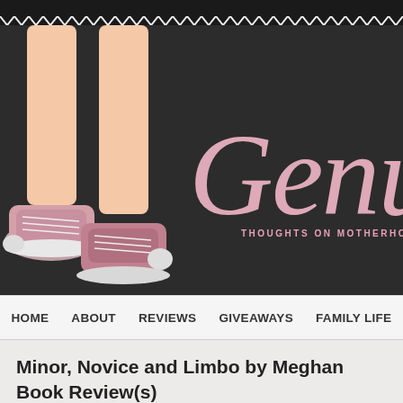[Figure (illustration): Blog header banner with dark background, illustrated cartoon legs wearing pink Converse sneakers on the left, and a large pink cursive 'Genuin' script text partially visible on the right with 'THOUGHTS ON MOTHERHOOD' subtitle text below it]
HOME   ABOUT   REVIEWS   GIVEAWAYS   FAMILY LIFE
Minor, Novice and Limbo by Meghan Book Review(s)